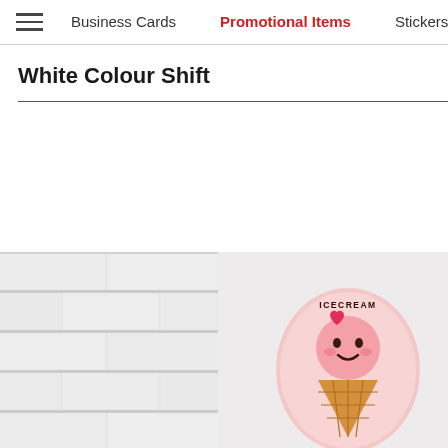Business Cards   Promotional Items   Stickers
White Colour Shift
[Figure (photo): Close-up photo of white textured brick wall surface]
[Figure (photo): Pink ice cream cone character badge/button with 'I Love Icecream' text on light background]